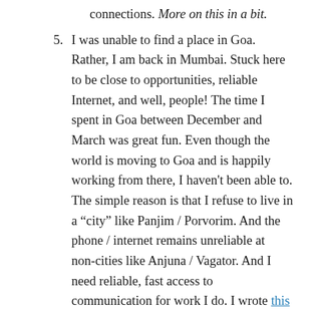connections. More on this in a bit.
5. I was unable to find a place in Goa. Rather, I am back in Mumbai. Stuck here to be close to opportunities, reliable Internet, and well, people! The time I spent in Goa between December and March was great fun. Even though the world is moving to Goa and is happily working from there, I haven't been able to. The simple reason is that I refuse to live in a “city” like Panjim / Porvorim. And the phone / internet remains unreliable at non-cities like Anjuna / Vagator. And I need reliable, fast access to communication for work I do. I wrote this long post on my Goa experience. Of course, I will have a leg in that place. Let’s see when and how.